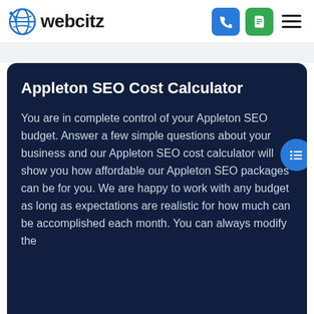webcitz
Appleton SEO Cost Calculator
You are in complete control of your Appleton SEO budget. Answer a few simple questions about your business and our Appleton SEO cost calculator will show you how affordable our Appleton SEO packages can be for you. We are happy to work with any budget as long as expectations are realistic for how much can be accomplished each month. You can always modify the